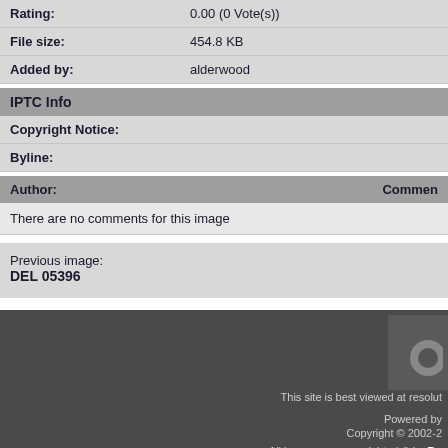| Rating: | 0.00 (0 Vote(s)) |
| File size: | 454.8 KB |
| Added by: | alderwood |
IPTC Info
| Copyright Notice: |  |
| Byline: |  |
| Author: | Comment |
| --- | --- |
| There are no comments for this image |  |
Previous image:
DEL 05396
This site is best viewed at resolut
Powered by
Copyright © 2002-2
All images are copyrighted © by Ro